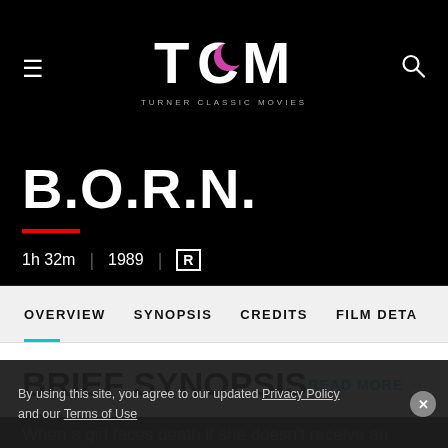TCM TURNER CLASSIC MOVIES
B.O.R.N.
1h 32m | 1989 | R
OVERVIEW | SYNOPSIS | CREDITS | FILM DETAILS
BRIEF SYNOPSIS
READ MORE →
By using this site, you agree to our updated Privacy Policy and our Terms of Use
When a girl faces death if she doesn't receive an